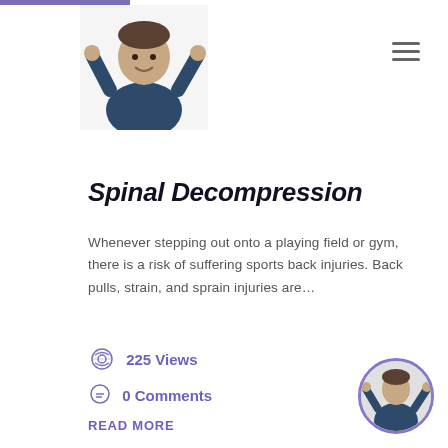[Figure (photo): Doctor in dark scrubs giving thumbs up, website header image]
Spinal Decompression
Whenever stepping out onto a playing field or gym, there is a risk of suffering sports back injuries. Back pulls, strain, and sprain injuries are…
225 Views
0 Comments
READ MORE
[Figure (photo): Small circular avatar of doctor in dark scrubs giving thumbs up]